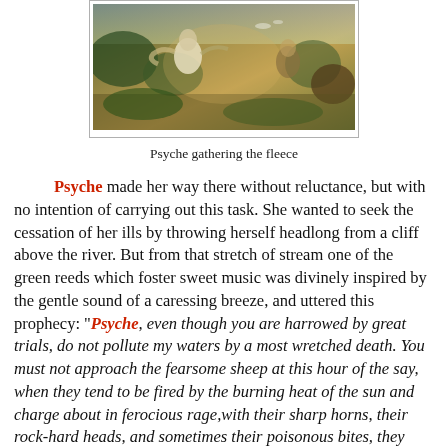[Figure (illustration): A classical painting depicting Psyche gathering the fleece, showing figures in a dynamic landscape with golden and green tones.]
Psyche gathering the fleece
Psyche made her way there without reluctance, but with no intention of carrying out this task. She wanted to seek the cessation of her ills by throwing herself headlong from a cliff above the river. But from that stretch of stream one of the green reeds which foster sweet music was divinely inspired by the gentle sound of a caressing breeze, and uttered this prophecy: "Psyche, even though you are harrowed by great trials, do not pollute my waters by a most wretched death. You must not approach the fearsome sheep at this hour of the say, when they tend to be fired by the burning heat of the sun and charge about in ferocious rage,with their sharp horns, their rock-hard heads, and sometimes their poisonous bites, they wreak savage destruction on human folk. But one the hours past noon have quelled the sun's heat, and the flocks have quieted down under the calming influence of the